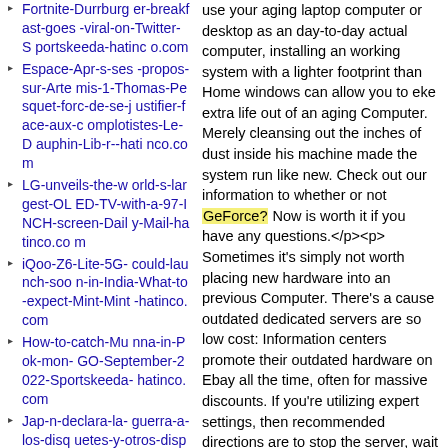Fortnite-Durrburger-breakfast-goes-viral-on-Twitter-Sportskeeda-hatinco.com
Espace-Apr-s-ses-propos-sur-Artemis-1-Thomas-Pesquet-forc-de-se-justifier-face-aux-complotistes-Le-Dauphin-Lib-r--hatinco.com
LG-unveils-the-world-s-largest-OLED-TV-with-a-97-INCH-screen-Daily-Mail-hatinco.com
iQoo-Z6-Lite-5G-could-launch-soon-in-India-What-to-expect-Mint-Mint-hatinco.com
How-to-catch-Munna-in-Pok-mon-GO-September-2022-Sportskeeda-hatinco.com
Jap-n-declara-la-guerra-a-los-disquetes-y-otros-dispositivos-obsoletos-BBC-News-Mundo-hatinco.com
use your aging laptop computer or desktop as an day-to-day actual computer, installing an working system with a lighter footprint than Home windows can allow you to eke extra life out of an aging Computer. Merely cleansing out the inches of dust inside his machine made the system run like new. Check out our information to whether or not GeForce? Now is worth it if you have any questions.</p><p>Sometimes it's simply not worth placing new hardware into an previous Computer. There's a cause outdated dedicated servers are so low cost: Information centers promote their outdated hardware on Ebay all the time, often for massive discounts. If you're utilizing expert settings, then recommended directions are to stop the server, wait 5 minutes, make the modifications to the settings, save, wait an additional 5 minutes, then restart server. What is extra attention-grabbing is you may get a game server using ClanPay?. " Ah, but you may with an honest Web connection. Make